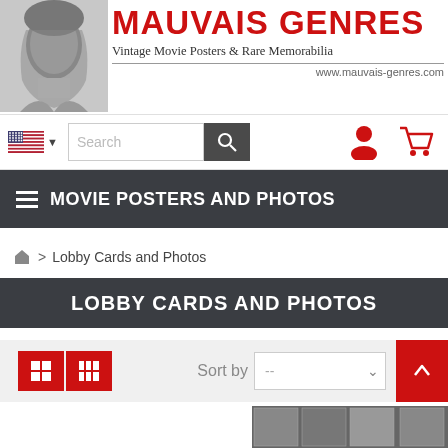[Figure (logo): Mauvais Genres logo with a black and white portrait of a woman, bold red text 'MAUVAIS GENRES', subtitle 'Vintage Movie Posters & Rare Memorabilia', and URL www.mauvais-genres.com]
[Figure (screenshot): Navigation bar with US flag language selector, search box, search button, user account icon and cart icon]
MOVIE POSTERS AND PHOTOS
🏠 > Lobby Cards and Photos
LOBBY CARDS AND PHOTOS
[Figure (screenshot): View toggle buttons (grid/list), Sort by dropdown, and up arrow button]
[Figure (photo): Partial product image visible at bottom right]